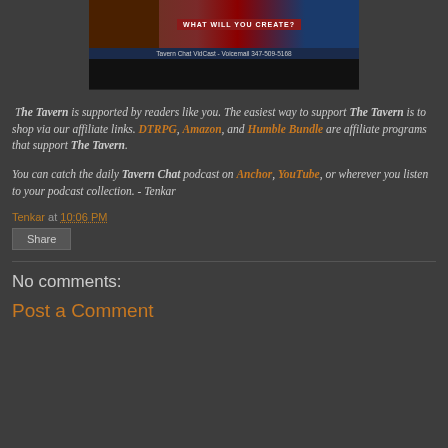[Figure (screenshot): Video thumbnail showing 'Tavern Chat VidCast - Voicemail 347-509-5168' with dark background and text 'WHAT WILL YOU CREATE?']
The Tavern is supported by readers like you. The easiest way to support The Tavern is to shop via our affiliate links. DTRPG, Amazon, and Humble Bundle are affiliate programs that support The Tavern.
You can catch the daily Tavern Chat podcast on Anchor, YouTube, or wherever you listen to your podcast collection. - Tenkar
Tenkar at 10:06 PM
Share
No comments:
Post a Comment